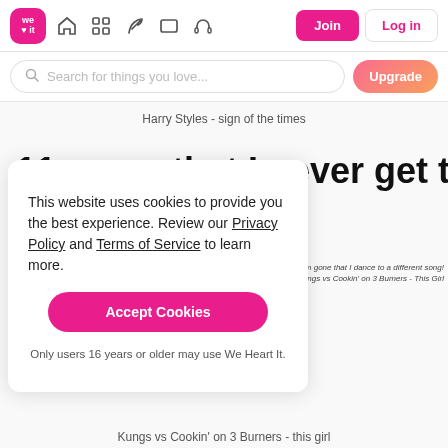We Heart It navigation bar with logo, home, grid, feather, rectangle, headphone icons, Join and Log in buttons
Search for things you love...
Upgrade
Harry Styles - sign of the times
11. song that I never get tired of
This website uses cookies to provide you the best experience. Review our Privacy Policy and Terms of Service to learn more.
Accept Cookies
Only users 16 years or older may use We Heart It.
hen I'm gone that I dance to a different song! Kungs vs Cookin' on 3 Burners - This Girl
Kungs vs Cookin' on 3 Burners - this girl